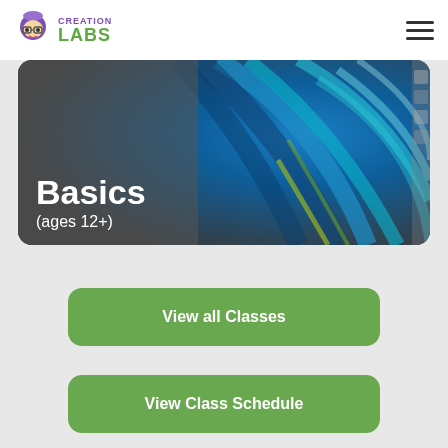[Figure (logo): Creation Labs logo with purple character icon, 'CREATION' in purple and 'LABS' in green]
[Figure (photo): Hero banner showing partial text 'Fusion 360 Basics (ages 12+)' overlaid on a colorful blue and teal 3D rendered bird/feather image]
View all Classes
View Class Schedule